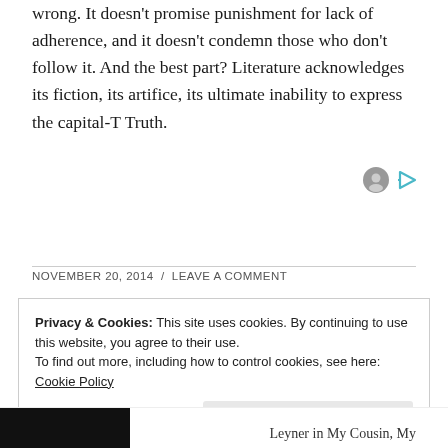wrong. It doesn't promise punishment for lack of adherence, and it doesn't condemn those who don't follow it. And the best part? Literature acknowledges its fiction, its artifice, its ultimate inability to express the capital-T Truth.
[Figure (other): Small ad icon: grey circle with person silhouette and a teal play/forward button icon]
NOVEMBER 20, 2014 / LEAVE A COMMENT
Privacy & Cookies: This site uses cookies. By continuing to use this website, you agree to their use. To find out more, including how to control cookies, see here: Cookie Policy
Close and accept
Leyner in My Cousin, My